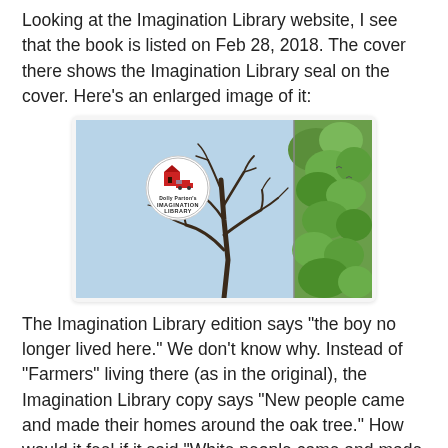Looking at the Imagination Library website, I see that the book is listed on Feb 28, 2018. The cover there shows the Imagination Library seal on the cover. Here's an enlarged image of it:
[Figure (illustration): Enlarged image of a book cover showing a light blue sky background with a bare dark tree silhouette on the left and green trees on the right. A circular seal/logo for 'Dolly Parton's Imagination Library' is visible in the upper left area of the cover.]
The Imagination Library edition says "the boy no longer lived here." We don't know why. Instead of "Farmers" living there (as in the original), the Imagination Library copy says "New people came and made their homes around the oak tree." How would it feel if it said "White people came and made their homes around the oak tree"?